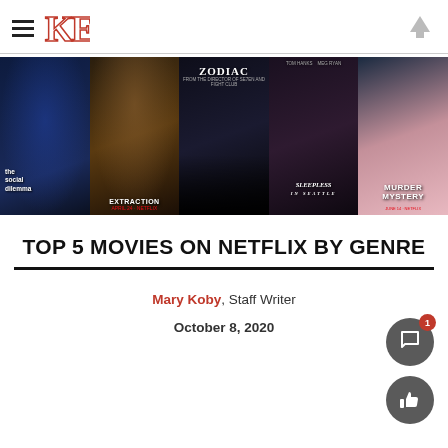KE (logo) — hamburger menu and up arrow
[Figure (photo): A horizontal strip of five Netflix movie posters: The Social Dilemma, Extraction, Zodiac, Sleepless in Seattle, Murder Mystery]
TOP 5 MOVIES ON NETFLIX BY GENRE
Mary Koby, Staff Writer
October 8, 2020